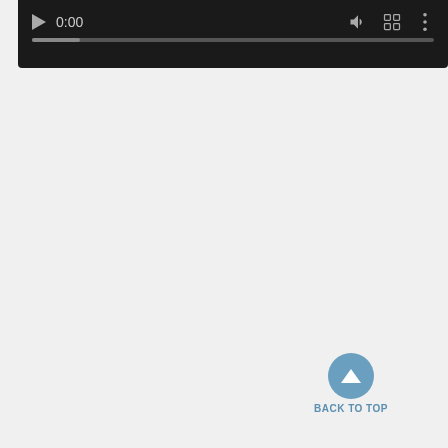[Figure (screenshot): Video player control bar with dark background showing play button, time display 0:00, volume icon, fullscreen icon, and more options icon, with a progress bar below.]
BACK TO TOP